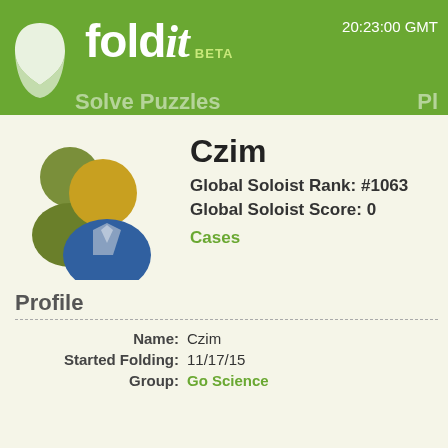fold it BETA  20:23:00 GMT
Czim
Global Soloist Rank: #1063
Global Soloist Score: 0
Cases
Profile
| Field | Value |
| --- | --- |
| Name: | Czim |
| Started Folding: | 11/17/15 |
| Group: | Go Science |
Ranks
| Category | Solo Rank |  |
| --- | --- | --- |